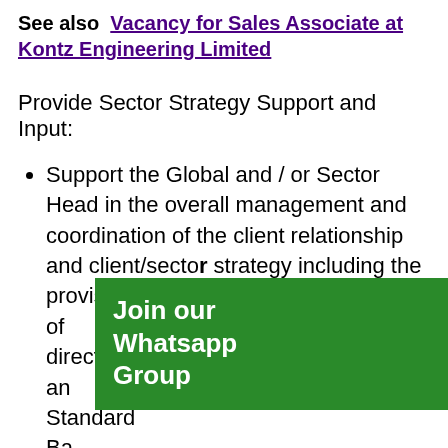See also  Vacancy for Sales Associate at Kontz Engineering Limited
Provide Sector Strategy Support and Input:
Support the Global and / or Sector Head in the overall management and coordination of the client relationship and client/sector strategy including the provision of [Join our Whatsapp Group overlay] direction and Standard Bank the sector of client strategy and business development approach.
Maintain detailed and current understanding of external markets (at
[Figure (infographic): Green overlay box with text 'Join our Whatsapp Group']